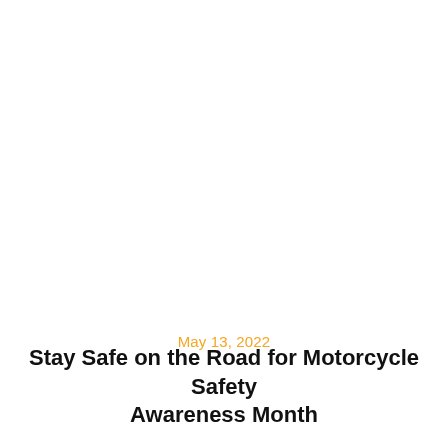May 13, 2022
Stay Safe on the Road for Motorcycle Safety Awareness Month